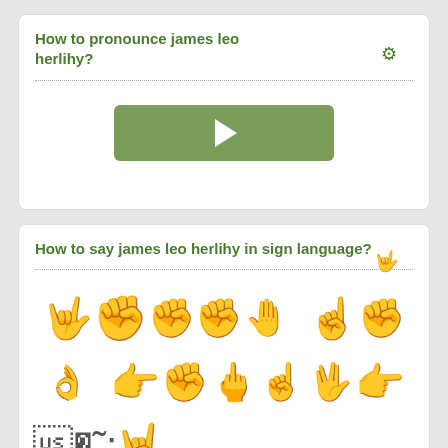How to pronounce james leo herlihy?
[Figure (other): Green play button for audio pronunciation]
How to say james leo herlihy in sign language?
[Figure (illustration): Sign language hand gestures for each letter of james leo herlihy, shown as hand emoji icons in a grid of two rows plus one extra]